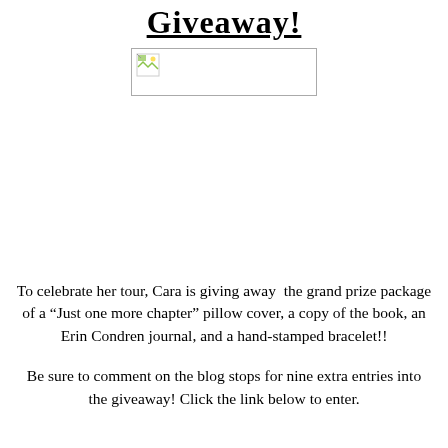Giveaway!
[Figure (other): Broken/missing image placeholder with small icon in top-left corner]
To celebrate her tour, Cara is giving away  the grand prize package of a “Just one more chapter” pillow cover, a copy of the book, an Erin Condren journal, and a hand-stamped bracelet!!
Be sure to comment on the blog stops for nine extra entries into the giveaway! Click the link below to enter.